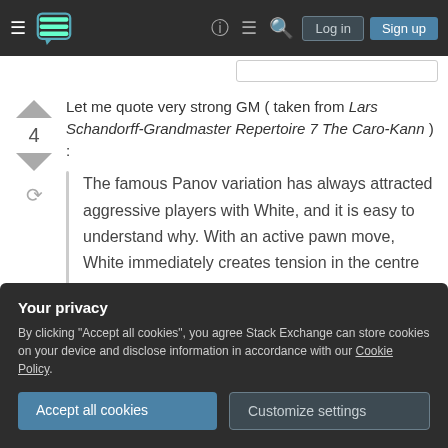Stack Exchange navigation bar with hamburger menu, logo, help, chat, search icons, Log in and Sign up buttons
Let me quote very strong GM ( taken from Lars Schandorff-Grandmaster Repertoire 7 The Caro-Kann ) :
The famous Panov variation has always attracted aggressive players with White, and it is easy to understand why. With an active pawn move, White immediately creates tension in the centre and shows
Your privacy
By clicking "Accept all cookies", you agree Stack Exchange can store cookies on your device and disclose information in accordance with our Cookie Policy.
Accept all cookies
Customize settings